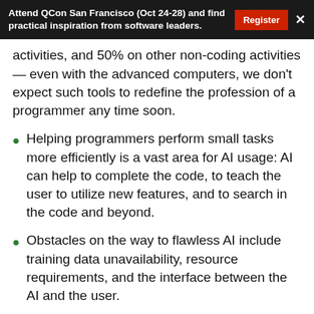Attend QCon San Francisco (Oct 24-28) and find practical inspiration from software leaders.
activities, and 50% on other non-coding activities — even with the advanced computers, we don't expect such tools to redefine the profession of a programmer any time soon.
Helping programmers perform small tasks more efficiently is a vast area for AI usage: AI can help to complete the code, to teach the user to utilize new features, and to search in the code and beyond.
Obstacles on the way to flawless AI include training data unavailability, resource requirements, and the interface between the AI and the user.
The companies working on software development tools are quickly developing the